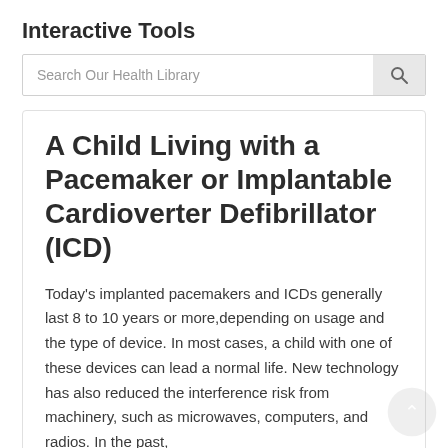Interactive Tools
Search Our Health Library
A Child Living with a Pacemaker or Implantable Cardioverter Defibrillator (ICD)
Today's implanted pacemakers and ICDs generally last 8 to 10 years or more,depending on usage and the type of device. In most cases, a child with one of these devices can lead a normal life. New technology has also reduced the interference risk from machinery, such as microwaves, computers, and radios. In the past,